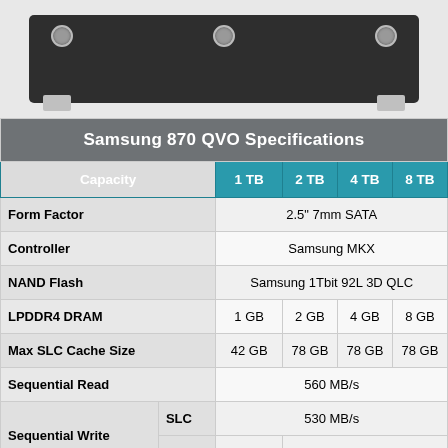[Figure (photo): Photo of Samsung 870 QVO SSD from the back/bottom, showing the dark enclosure with screws and mounting brackets]
| Capacity |  | 1 TB | 2 TB | 4 TB | 8 TB |
| --- | --- | --- | --- | --- | --- |
| Form Factor |  | 2.5" 7mm SATA |  |  |  |
| Controller |  | Samsung MKX |  |  |  |
| NAND Flash |  | Samsung 1Tbit 92L 3D QLC |  |  |  |
| LPDDR4 DRAM |  | 1 GB | 2 GB | 4 GB | 8 GB |
| Max SLC Cache Size |  | 42 GB | 78 GB | 78 GB | 78 GB |
| Sequential Read |  | 560 MB/s |  |  |  |
| Sequential Write | SLC | 530 MB/s |  |  |  |
| Sequential Write | QLC | 80 MB/s | 160 MB/s |  |  |
| Random | OD1 | 11k | 11k (SLC) |  |  |